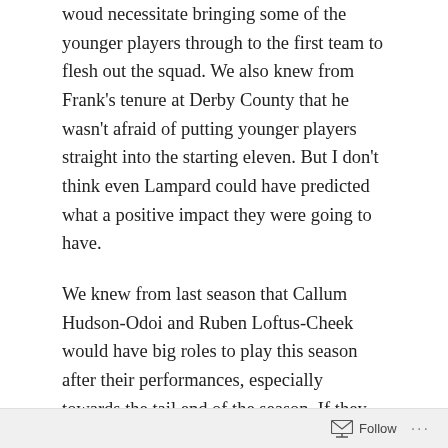woud necessitate bringing some of the younger players through to the first team to flesh out the squad. We also knew from Frank's tenure at Derby County that he wasn't afraid of putting younger players straight into the starting eleven. But I don't think even Lampard could have predicted what a positive impact they were going to have.
We knew from last season that Callum Hudson-Odoi and Ruben Loftus-Cheek would have big roles to play this season after their performances, especially towards the tail end of the season. If they hadn't suffered major injuries, I am confident that both would have started the Europa League Final against Arsenal. As it is Hudson-Odoi has only just returned to regular first-team action but has already made a huge impact, with three assists and a goal in four appearances. Ruben Loftus-Cheek hasn't returned to first team action and isn't expected to do so until November but
Follow